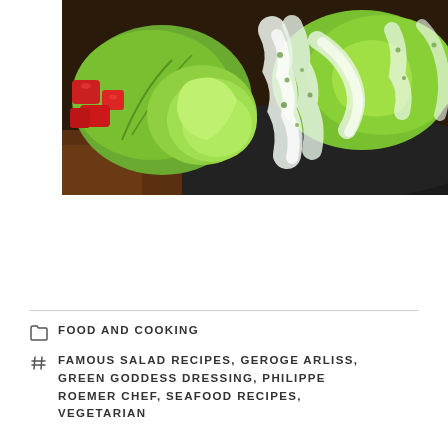[Figure (photo): A salad with green lettuce leaves and red tomato chunks on a dark plate, drizzled with a creamy white green goddess dressing.]
FOOD AND COOKING
FAMOUS SALAD RECIPES, GEROGE ARLISS, GREEN GODDESS DRESSING, PHILIPPE ROEMER CHEF, SEAFOOD RECIPES, VEGETARIAN